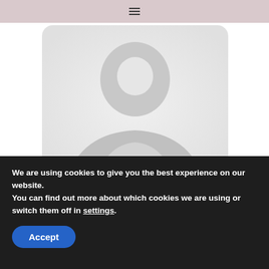≡ (hamburger menu icon)
[Figure (illustration): Generic user avatar placeholder: a silhouette of a person (head and shoulders) in light gray tones with rounded rectangle crop, set against a white background.]
saTanja says
10/25/2020 at 12:33 pm
Those pants are so fierce, love the design. And that coat is just amazing!! What an awesome look,
We are using cookies to give you the best experience on our website.
You can find out more about which cookies we are using or switch them off in settings.
Accept